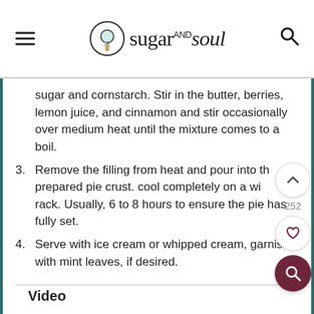sugar and soul
sugar and cornstarch. Stir in the butter, berries, lemon juice, and cinnamon and stir occasionally over medium heat until the mixture comes to a boil.
3. Remove the filling from heat and pour into the prepared pie crust. cool completely on a wire rack. Usually, 6 to 8 hours to ensure the pie has fully set.
4. Serve with ice cream or whipped cream, garnish with mint leaves, if desired.
Video